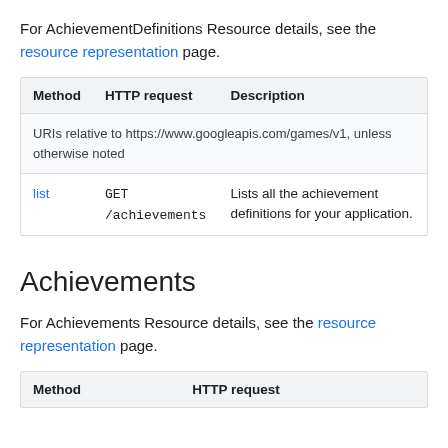For AchievementDefinitions Resource details, see the resource representation page.
| Method | HTTP request | Description |
| --- | --- | --- |
| URIs relative to https://www.googleapis.com/games/v1, unless otherwise noted |  |  |
| list | GET /achievements | Lists all the achievement definitions for your application. |
Achievements
For Achievements Resource details, see the resource representation page.
| Method | HTTP request |
| --- | --- |